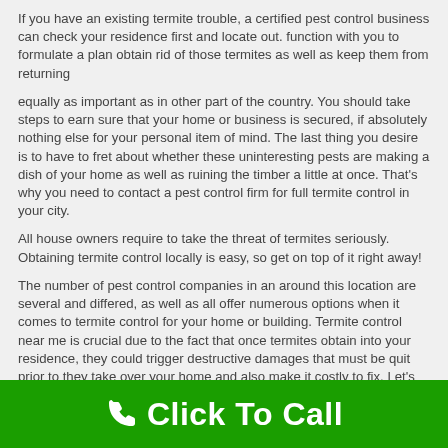If you have an existing termite trouble, a certified pest control business can check your residence first and locate out. function with you to formulate a plan obtain rid of those termites as well as keep them from returning
equally as important as in other part of the country. You should take steps to earn sure that your home or business is secured, if absolutely nothing else for your personal item of mind. The last thing you desire is to have to fret about whether these uninteresting pests are making a dish of your home as well as ruining the timber a little at once. That's why you need to contact a pest control firm for full termite control in your city.
All house owners require to take the threat of termites seriously. Obtaining termite control locally is easy, so get on top of it right away!
The number of pest control companies in an around this location are several and differed, as well as all offer numerous options when it comes to termite control for your home or building. Termite control near me is crucial due to the fact that once termites obtain into your residence, they could trigger destructive damages that must be quit prior to they take over your home and also make it costly to fix. Let's take an appearance at a few of the business we have actually found for termite control in your area that could help you
Click To Call